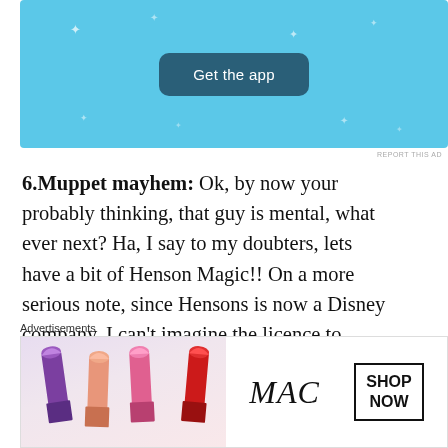[Figure (screenshot): Blue app advertisement banner with 'Get the app' button and sparkle decorations]
REPORT THIS AD
6.Muppet mayhem: Ok, by now your probably thinking, that guy is mental, what ever next? Ha, I say to my doubters, lets have a bit of Henson Magic!! On a more serious note, since Hensons is now a Disney company, I can't imagine the licence to produce these figures would be cheap. A good alternative would be some not versions with Hermit the frog, Fuzzy Bear, Bonzo and Madame Piggles and crew would get my cash (Hmmm, maybe Madame Piggles might fit with my Oggam….) I can't think of how I would use them, but one can't ever say the
Advertisements
[Figure (screenshot): MAC cosmetics advertisement showing lipsticks and 'SHOP NOW' text]